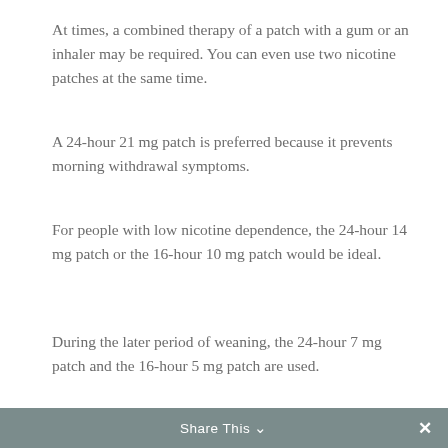At times, a combined therapy of a patch with a gum or an inhaler may be required. You can even use two nicotine patches at the same time.
A 24-hour 21 mg patch is preferred because it prevents morning withdrawal symptoms.
For people with low nicotine dependence, the 24-hour 14 mg patch or the 16-hour 10 mg patch would be ideal.
During the later period of weaning, the 24-hour 7 mg patch and the 16-hour 5 mg patch are used.
However, it is advised that you take the advice of your smoking cessation doctor.
Duration of treatment with patch
The recommended duration of treatment is at least